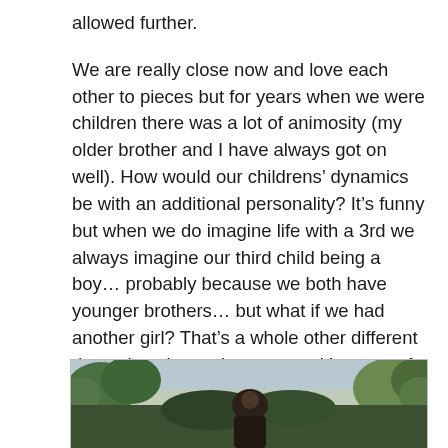allowed further.
We are really close now and love each other to pieces but for years when we were children there was a lot of animosity (my older brother and I have always got on well). How would our childrens' dynamics be with an additional personality? It's funny but when we do imagine life with a 3rd we always imagine our third child being a boy… probably because we both have younger brothers… but what if we had another girl? That's a whole other different dynamic to have sisters. … neither one of us knows anything about! It's scary but by not having a third are we denying them the chance?
[Figure (photo): Outdoor photo showing a person in the foreground with trees and sky in the background, partially cropped at bottom of page]